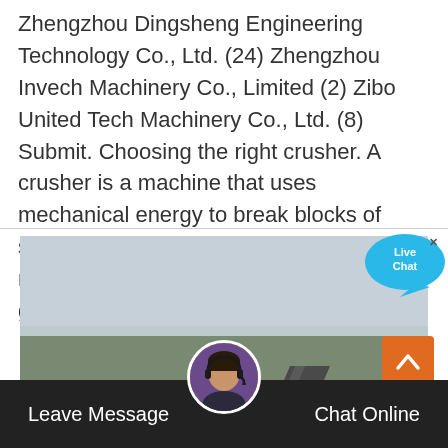Zhengzhou Dingsheng Engineering Technology Co., Ltd. (24) Zhengzhou Invech Machinery Co., Limited (2) Zibo United Tech Machinery Co., Ltd. (8) Submit. Choosing the right crusher. A crusher is a machine that uses mechanical energy to break blocks of stone, concrete, or other building materials into smaller blocks of a specific grain size.
[Figure (photo): Outdoor photo of industrial crushing/screening machinery (conveyor belts and crusher equipment) at a quarry or construction site, with bare trees and overcast sky in background.]